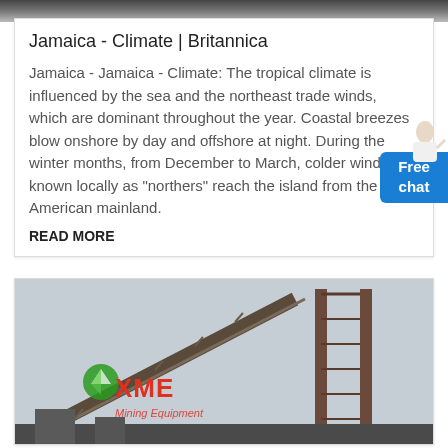[Figure (photo): Top image strip showing a dark/grey background photo cropped at top]
Jamaica - Climate | Britannica
Jamaica - Jamaica - Climate: The tropical climate is influenced by the sea and the northeast trade winds, which are dominant throughout the year. Coastal breezes blow onshore by day and offshore at night. During the winter months, from December to March, colder winds known locally as "northers" reach the island from the North American mainland.
READ MORE
[Figure (photo): Industrial machinery image with crane/conveyor structures, XME Mining Equipment logo overlay in red and green]